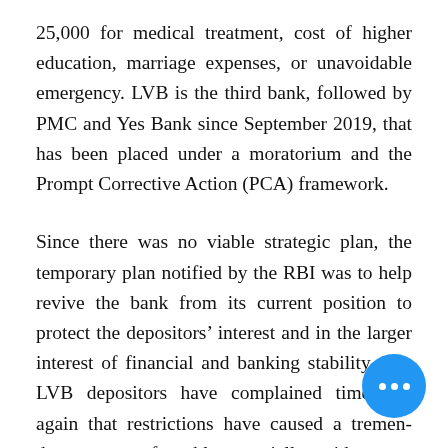25,000 for medical treatment, cost of higher education, marriage expenses, or unavoidable emergency. LVB is the third bank, followed by PMC and Yes Bank since September 2019, that has been placed under a moratorium and the Prompt Corrective Action (PCA) framework.
Since there was no viable strategic plan, the temporary plan notified by the RBI was to help revive the bank from its current position to protect the depositors' interest and in the larger interest of financial and banking stability. The LVB depositors have complained time and again that restrictions have caused a tremendous amount of trouble, especially amidst